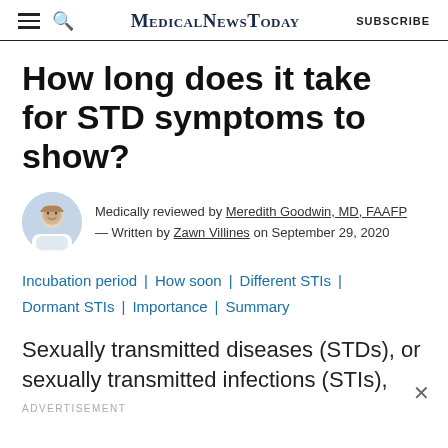MedicalNewsToday | SUBSCRIBE
How long does it take for STD symptoms to show?
Medically reviewed by Meredith Goodwin, MD, FAAFP — Written by Zawn Villines on September 29, 2020
Incubation period | How soon | Different STIs | Dormant STIs | Importance | Summary
Sexually transmitted diseases (STDs), or sexually transmitted infections (STIs),
ADVERTISEMENT